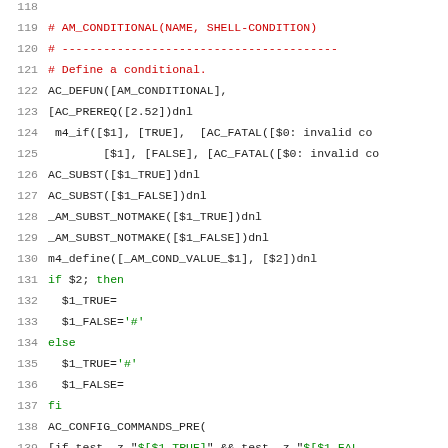Source code listing, lines 118-139, autoconf m4 macro file showing AM_CONDITIONAL definition